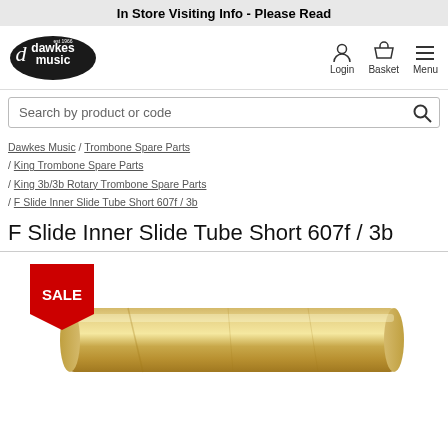In Store Visiting Info - Please Read
[Figure (logo): Dawkes Music logo - est 1966]
Login  Basket  Menu
Search by product or code
Dawkes Music / Trombone Spare Parts / King Trombone Spare Parts / King 3b/3b Rotary Trombone Spare Parts / F Slide Inner Slide Tube Short 607f / 3b
F Slide Inner Slide Tube Short 607f / 3b
[Figure (photo): Photo of a brass F Slide Inner Slide Tube Short 607f / 3b — a cylindrical brass tube. A red SALE tag is shown in the top-left corner.]